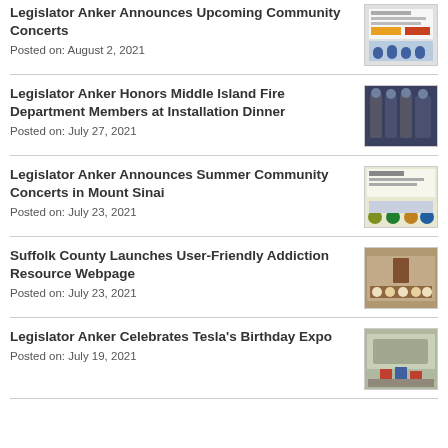Legislator Anker Announces Upcoming Community Concerts
Posted on: August 2, 2021
Legislator Anker Honors Middle Island Fire Department Members at Installation Dinner
Posted on: July 27, 2021
Legislator Anker Announces Summer Community Concerts in Mount Sinai
Posted on: July 23, 2021
Suffolk County Launches User-Friendly Addiction Resource Webpage
Posted on: July 23, 2021
Legislator Anker Celebrates Tesla's Birthday Expo
Posted on: July 19, 2021